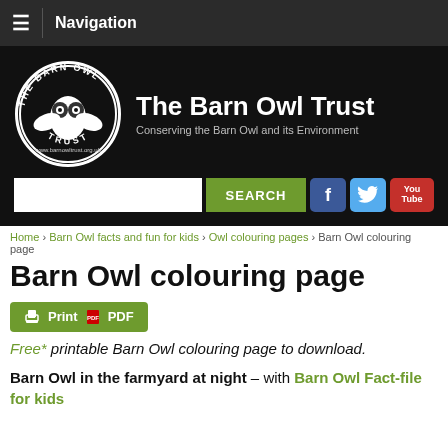Navigation
[Figure (screenshot): The Barn Owl Trust website banner with circular logo, organization name and tagline 'Conserving the Barn Owl and its Environment', search bar with SEARCH button, Facebook, Twitter, and YouTube social icons]
Home › Barn Owl facts and fun for kids › Owl colouring pages › Barn Owl colouring page
Barn Owl colouring page
Print PDF
Free* printable Barn Owl colouring page to download.
Barn Owl in the farmyard at night – with Barn Owl Fact-file for kids